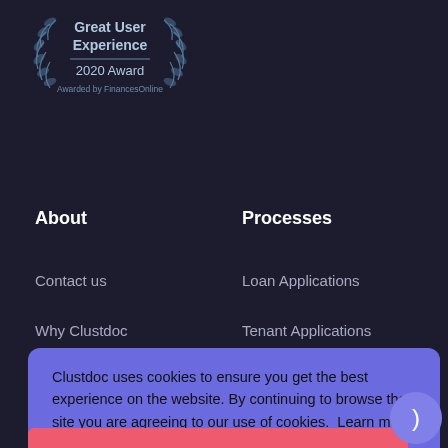[Figure (logo): Great User Experience 2020 Award badge awarded by FinancesOnline, with laurel wreath design]
About
Processes
Contact us
Loan Applications
Why Clustdoc
Tenant Applications
Clustdoc uses cookies to ensure you get the best experience on the website. By continuing to browse the site you are agreeing to our use of cookies.  Learn more
Got it!